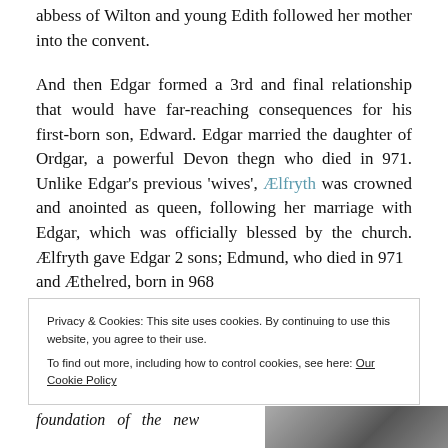abbess of Wilton and young Edith followed her mother into the convent.
And then Edgar formed a 3rd and final relationship that would have far-reaching consequences for his first-born son, Edward. Edgar married the daughter of Ordgar, a powerful Devon thegn who died in 971. Unlike Edgar's previous 'wives', Ælfryth was crowned and anointed as queen, following her marriage with Edgar, which was officially blessed by the church. Ælfryth gave Edgar 2 sons; Edmund, who died in 971  and Æthelred, born in 968
Privacy & Cookies: This site uses cookies. By continuing to use this website, you agree to their use.
To find out more, including how to control cookies, see here: Our Cookie Policy
Close and accept
foundation of the new
[Figure (photo): Black and white photograph partially visible at bottom right of page]